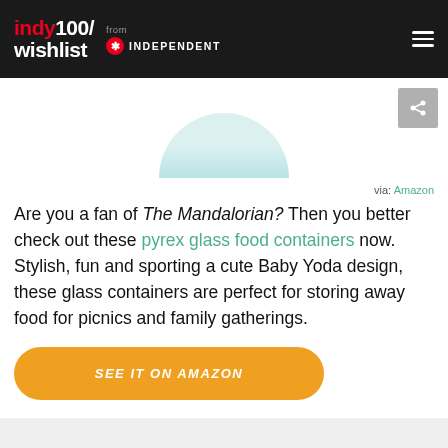indy100/wishlist from INDEPENDENT
[Figure (illustration): Partial circular product image at top of page, light teal/aqua background]
via: Amazon
Are you a fan of The Mandalorian? Then you better check out these pyrex glass food containers now. Stylish, fun and sporting a cute Baby Yoda design, these glass containers are perfect for storing away food for picnics and family gatherings.
SEE IT ON AMAZON